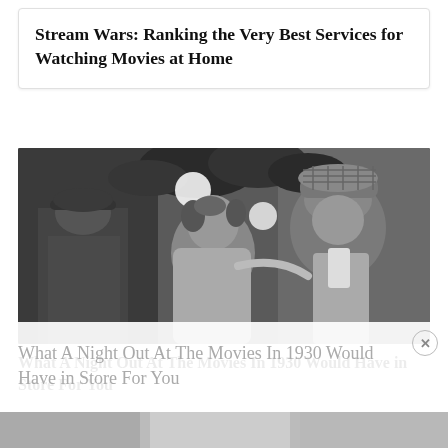Stream Wars: Ranking the Very Best Services for Watching Movies at Home
[Figure (photo): Black and white vintage photograph of a couple at a 1930s nightclub or restaurant. A man wearing a plaid flat cap leans close to a woman with curled hair. Another man in a hat is visible in the background. Decorative plants visible overhead.]
What A Night Out At The Movies In 1930 Would Have in Store For You
[Figure (photo): Partial view of another photograph at the bottom of the page, mostly cut off.]